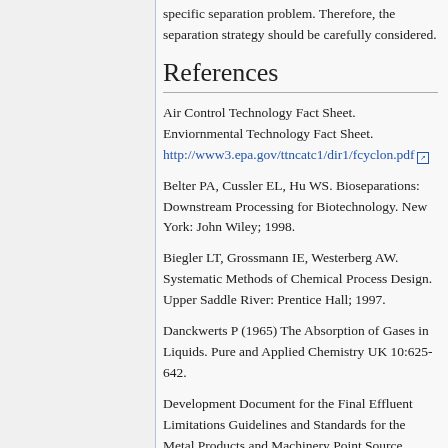specific separation problem. Therefore, the separation strategy should be carefully considered.
References
Air Control Technology Fact Sheet. Enviornmental Technology Fact Sheet. http://www3.epa.gov/ttncatc1/dir1/fcyclon.pdf
Belter PA, Cussler EL, Hu WS. Bioseparations: Downstream Processing for Biotechnology. New York: John Wiley; 1998.
Biegler LT, Grossmann IE, Westerberg AW. Systematic Methods of Chemical Process Design. Upper Saddle River: Prentice Hall; 1997.
Danckwerts P (1965) The Absorption of Gases in Liquids. Pure and Applied Chemistry UK 10:625-642.
Development Document for the Final Effluent Limitations Guidelines and Standards for the Metal Products and Machinery Point Source Category (Report).